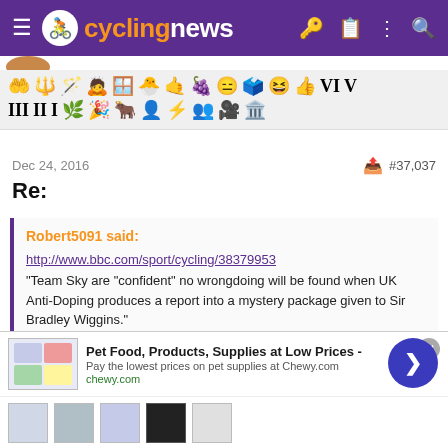cyclingnews
[Figure (screenshot): Emoji/reaction toolbar with various symbolic icons in two rows]
Dec 24, 2016  #37,037
Re:
Robert5091 said:
http://www.bbc.com/sport/cycling/38379953
"Team Sky are "confident" no wrongdoing will be found when UK Anti-Doping produces a report into a mystery package given to Sir Bradley Wiggins."
[Figure (screenshot): Advertisement banner: Pet Food, Products, Supplies at Low Prices - chewy.com]
[Figure (screenshot): Product thumbnail strip at bottom of page]